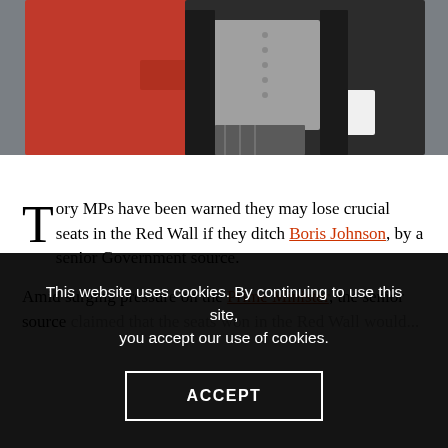[Figure (photo): Photo of a woman in a red dress and a man in formal black and grey attire walking together against a grey wall background.]
T
ory MPs have been warned they may lose crucial seats in the Red Wall if they ditch Boris Johnson, by a senior Government source.
Amid surging pressure on the Prime Minister, the senior source claimed that...
This website uses cookies. By continuing to use this site, you accept our use of cookies.
ACCEPT